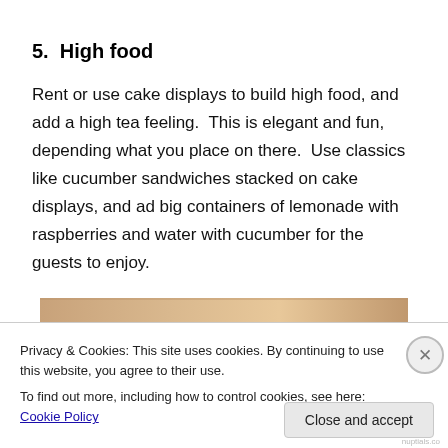5.  High food
Rent or use cake displays to build high food, and add a high tea feeling.  This is elegant and fun, depending what you place on there.  Use classics like cucumber sandwiches stacked on cake displays, and ad big containers of lemonade with raspberries and water with cucumber for the guests to enjoy.
[Figure (photo): Partial view of a food display image, cropped — shows warm tan/brown tones suggesting baked goods or a cake stand]
Privacy & Cookies: This site uses cookies. By continuing to use this website, you agree to their use.
To find out more, including how to control cookies, see here: Cookie Policy
Close and accept